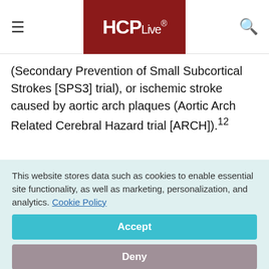HCPLive®
(Secondary Pre­vention of Small Subcortical Strokes [SPS3] trial), or ischemic stroke caused by aortic arch plaques (Aortic Arch Related Cerebral Hazard trial [ARCH]).¹²
Conclusion
This website stores data such as cookies to enable essential site functionality, as well as marketing, personalization, and analytics. Cookie Policy